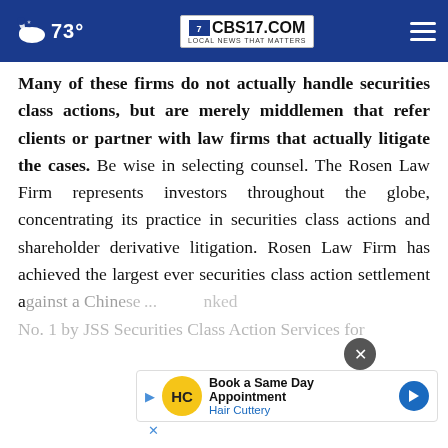73° CBS17.COM LOCAL NEWS THAT MATTERS
Many of these firms do not actually handle securities class actions, but are merely middlemen that refer clients or partner with law firms that actually litigate the cases. Be wise in selecting counsel. The Rosen Law Firm represents investors throughout the globe, concentrating its practice in securities class actions and shareholder derivative litigation. Rosen Law Firm has achieved the largest ever securities class action settlement against a Chinese... ranked No. 1 by JSS Securities Class Action Services for
[Figure (screenshot): Advertisement banner for Hair Cuttery: 'Book a Same Day Appointment' with HC logo]